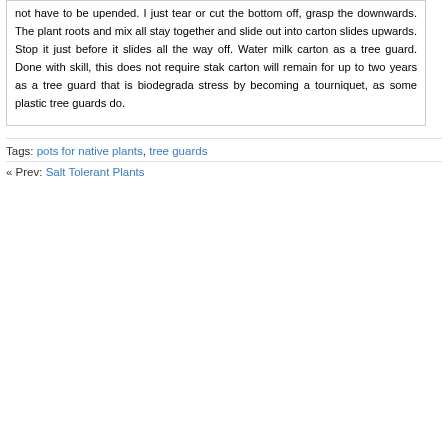not have to be upended. I just tear or cut the bottom off, grasp the downwards. The plant roots and mix all stay together and slide out into carton slides upwards. Stop it just before it slides all the way off. Water milk carton as a tree guard. Done with skill, this does not require stak carton will remain for up to two years as a tree guard that is biodegrada stress by becoming a tourniquet, as some plastic tree guards do.
Tags: pots for native plants, tree guards
« Prev: Salt Tolerant Plants